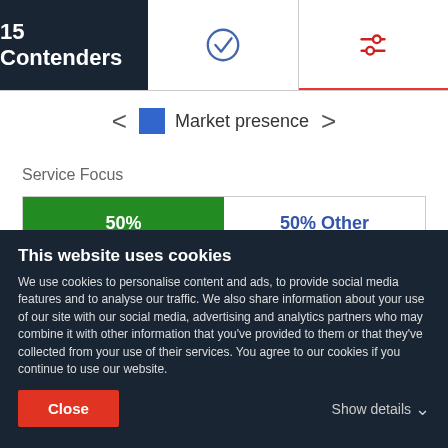15 Contenders
[Figure (other): Two tab icons: a checkmark circle and a settings/filter icon, with the second tab active (red underline)]
Market presence
Service Focus
[Figure (bar-chart): Service Focus]
Branding
This website uses cookies
We use cookies to personalise content and ads, to provide social media features and to analyse our traffic. We also share information about your use of our site with our social media, advertising and analytics partners who may combine it with other information that you've provided to them or that they've collected from your use of their services. You agree to our cookies if you continue to use our website.
Close
Show details